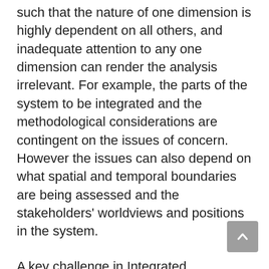These ten dimensions are intricately linked such that the nature of one dimension is highly dependent on all others, and inadequate attention to any one dimension can render the analysis irrelevant. For example, the parts of the system to be integrated and the methodological considerations are contingent on the issues of concern. However the issues can also depend on what spatial and temporal boundaries are being assessed and the stakeholders' worldviews and positions in the system.
A key challenge in Integrated Assessment and Modelling is accommodating the multiple spatial and temporal scales of system processes and interests, and the need to